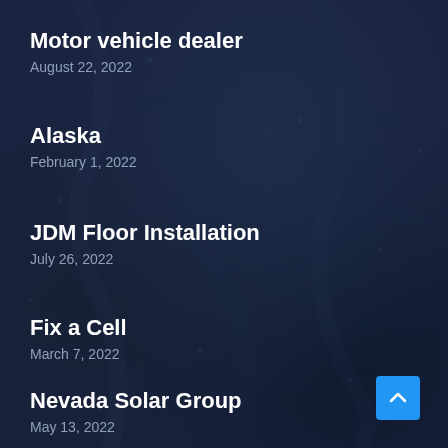Motor vehicle dealer
August 22, 2022
Alaska
February 1, 2022
JDM Floor Installation
July 26, 2022
Fix a Cell
March 7, 2022
Nevada Solar Group
May 13, 2022